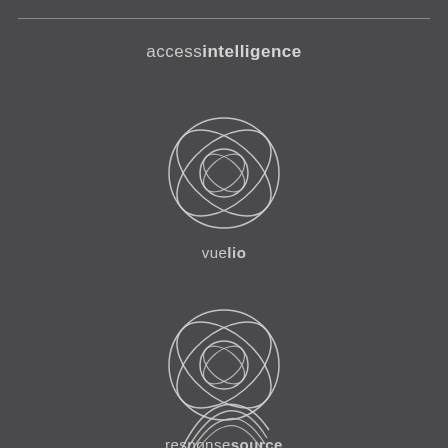[Figure (logo): Access Intelligence logo — text 'accessintelligence' with 'access' in light weight and 'intelligence' in bold]
[Figure (logo): Vuelio logo — circular spiral/orbit graphic mark above text 'vuelio' with 'vue' in light weight and 'lio' in bold]
[Figure (logo): ResponseSource logo — circular spiral/orbit graphic mark above text 'responsesource' with 'response' in light weight and 'source' in bold]
[Figure (logo): Third logo — partially visible circular arc/spiral graphic at the bottom of the page]